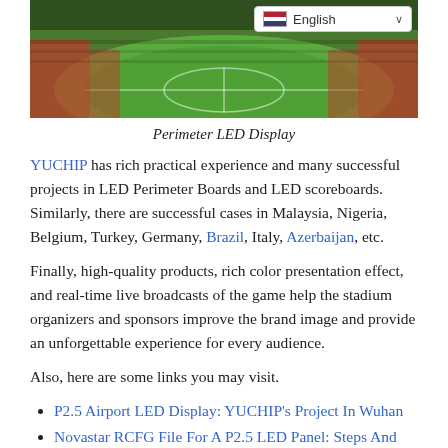[Figure (photo): Aerial view of a soccer/football stadium with green pitch, red seats in stands, and an English language selector dropdown in the top-right corner]
Perimeter LED Display
YUCHIP has rich practical experience and many successful projects in LED Perimeter Boards and LED scoreboards. Similarly, there are successful cases in Malaysia, Nigeria, Belgium, Turkey, Germany, Brazil, Italy, Azerbaijan, etc.
Finally, high-quality products, rich color presentation effect, and real-time live broadcasts of the game help the stadium organizers and sponsors improve the brand image and provide an unforgettable experience for every audience.
Also, here are some links you may visit.
P2.5 Airport LED Display: YUCHIP's Project In Wuhan
Novastar RCFG File For A P2.5 LED Panel: Steps And Guide
P5 Outdoor LED For Magyar Szinhaz Theater, Hungary
YUCHIP's P4.8 Rental LED Display For Főnix Hall, Hungary